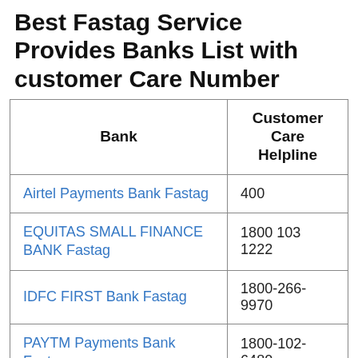Best Fastag Service Provides Banks List with customer Care Number
| Bank | Customer Care Helpline |
| --- | --- |
| Airtel Payments Bank Fastag | 400 |
| EQUITAS SMALL FINANCE BANK Fastag | 1800 103 1222 |
| IDFC FIRST Bank Fastag | 1800-266-9970 |
| PAYTM Payments Bank Fastag | 1800-102-6480 |
| State Bank of India Fastag | 1800-11-0018 |